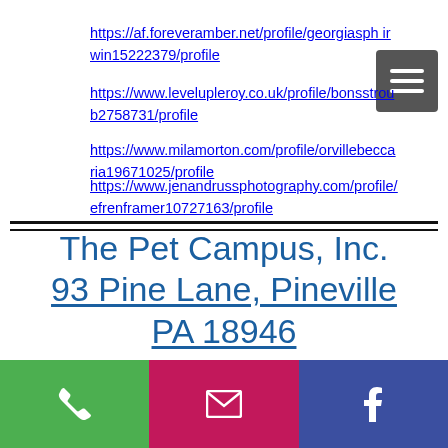https://af.foreveramber.net/profile/georgiasph irwin15222379/profile
https://www.levelupleroy.co.uk/profile/bonsstroub2758731/profile
https://www.milamorton.com/profile/orvillebeccaria19671025/profile
https://www.jenandrussphotography.com/profile/efrenframer10727163/profile
The Pet Campus, Inc. 93 Pine Lane, Pineville PA 18946
215-598-7202